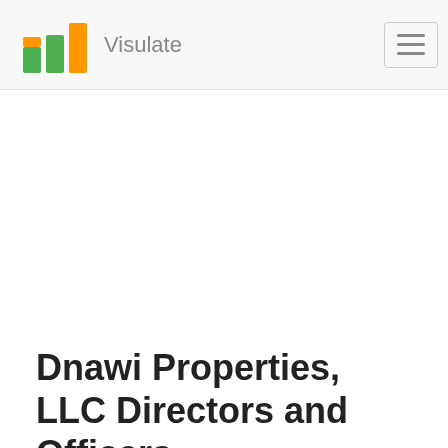Visulate
Dnawi Properties, LLC Directors and Officers
The following table lists the directors and officers for Dnawi